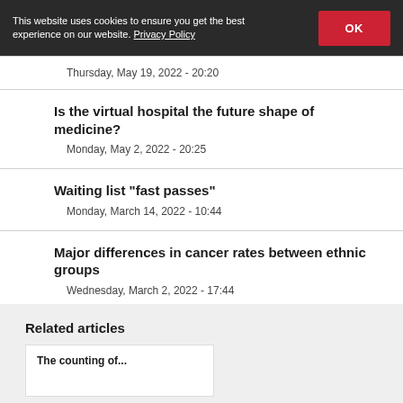This website uses cookies to ensure you get the best experience on our website. Privacy Policy
Thursday, May 19, 2022 - 20:20
Is the virtual hospital the future shape of medicine?
Monday, May 2, 2022 - 20:25
Waiting list "fast passes"
Monday, March 14, 2022 - 10:44
Major differences in cancer rates between ethnic groups
Wednesday, March 2, 2022 - 17:44
View all news
Related articles